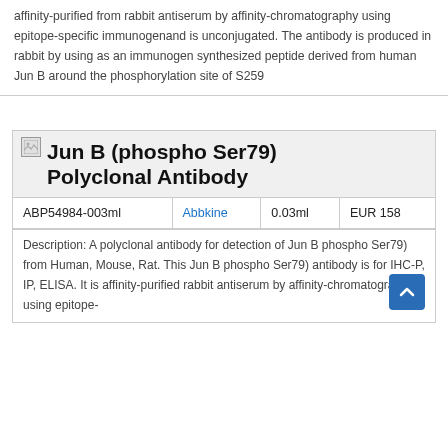affinity-purified from rabbit antiserum by affinity-chromatography using epitope-specific immunogenand is unconjugated. The antibody is produced in rabbit by using as an immunogen synthesized peptide derived from human Jun B around the phosphorylation site of S259
[Figure (other): Broken image icon placeholder]
Jun B (phospho Ser79) Polyclonal Antibody
|  |  |  |  |
| --- | --- | --- | --- |
| ABP54984-003ml | Abbkine | 0.03ml | EUR 158 |
Description: A polyclonal antibody for detection of Jun B phospho Ser79) from Human, Mouse, Rat. This Jun B phospho Ser79) antibody is for IHC-P, IP, ELISA. It is affinity-purified rabbit antiserum by affinity-chromatography using epitope-